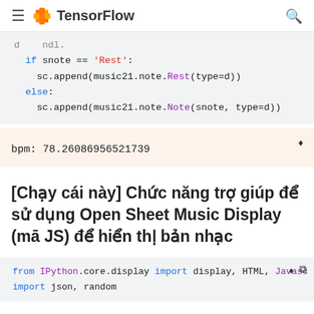TensorFlow
if snote == 'Rest':
    sc.append(music21.note.Rest(type=d))
else:
    sc.append(music21.note.Note(snote, type=d))
bpm:  78.26086956521739
[Chạy cái này] Chức năng trợ giúp để sử dụng Open Sheet Music Display (mā JS) để hiển thị bản nhạc
from IPython.core.display import display, HTML, Javascript
import json, random